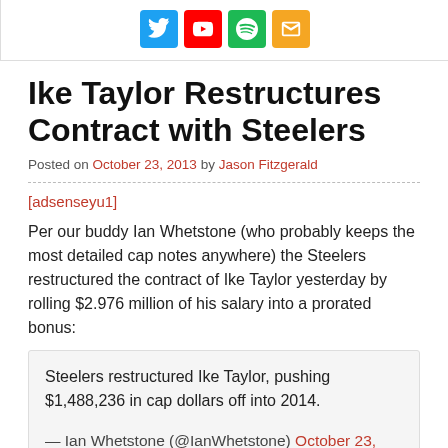[Figure (other): Social media icon bar with Twitter, YouTube, Spotify, and email icons]
Ike Taylor Restructures Contract with Steelers
Posted on October 23, 2013 by Jason Fitzgerald
[adsenseyu1]
Per our buddy Ian Whetstone (who probably keeps the most detailed cap notes anywhere) the Steelers restructured the contract of Ike Taylor yesterday by rolling $2.976 million of his salary into a prorated bonus:
Steelers restructured Ike Taylor, pushing $1,488,236 in cap dollars off into 2014.
— Ian Whetstone (@IanWhetstone) October 23, 2013
This was a move that the Steelers needed to make due to lack